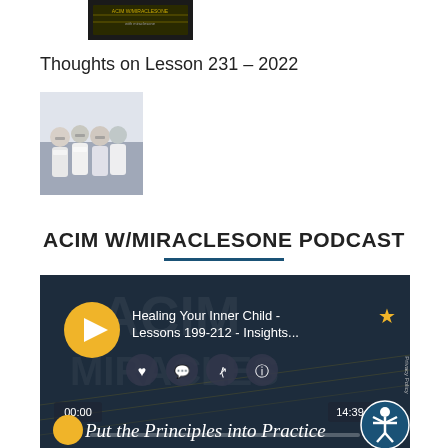[Figure (photo): Small dark thumbnail image of a book cover at top]
Thoughts on Lesson 231 – 2022
[Figure (photo): Thumbnail photo of a group of people wearing white shirts, looking down at phones or books]
ACIM W/MIRACLESONE PODCAST
[Figure (screenshot): Podcast player widget showing episode 'Healing Your Inner Child - Lessons 199-212 - Insights...' with play button, action icons (heart, comment, share, info), time display 00:00 / 14:39, and cursive text 'Put the Principles into Practice']